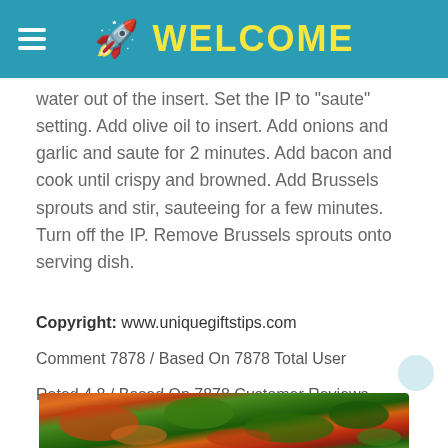🚀 WELCOME
water out of the insert. Set the IP to 'saute' setting. Add olive oil to insert. Add onions and garlic and saute for 2 minutes. Add bacon and cook until crispy and browned. Add Brussels sprouts and stir, sauteeing for a few minutes. Turn off the IP. Remove Brussels sprouts onto serving dish.
Copyright: www.uniquegiftstips.com
Comment 7878 / Based On 7878 Total User
Rated 4.8 / Based On 7878 Customer Reviews
[Figure (photo): Food photo showing Brussels sprouts dish with colorful vegetables]